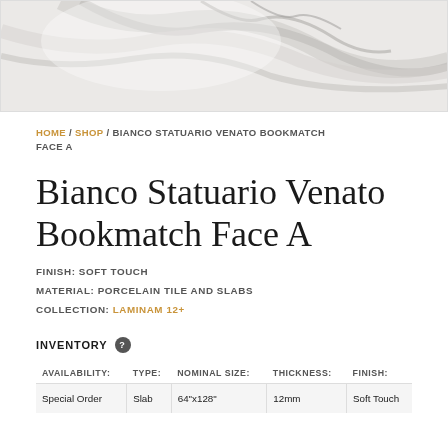[Figure (photo): Close-up photo of white marble-like surface with grey veining (Bianco Statuario Venato tile)]
HOME / SHOP / BIANCO STATUARIO VENATO BOOKMATCH FACE A
Bianco Statuario Venato Bookmatch Face A
FINISH: SOFT TOUCH
MATERIAL: PORCELAIN TILE AND SLABS
COLLECTION: LAMINAM 12+
INVENTORY
| AVAILABILITY: | TYPE: | NOMINAL SIZE: | THICKNESS: | FINISH: |
| --- | --- | --- | --- | --- |
| Special Order | Slab | 64"x128" | 12mm | Soft Touch |